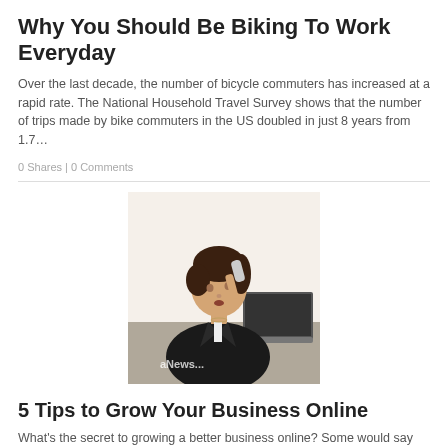Why You Should Be Biking To Work Everyday
Over the last decade, the number of bicycle commuters has increased at a rapid rate. The National Household Travel Survey shows that the number of trips made by bike commuters in the US doubled in just 8 years from 1.7…
0 Shares | 0 Comments
[Figure (photo): A businesswoman in a dark blazer sitting at a desk talking on a telephone, with a laptop visible, with a watermark 'aNews']
5 Tips to Grow Your Business Online
What's the secret to growing a better business online? Some would say it's a customer-centric approach, others would highlight the power of marketing, and still there are some who believe it's all about establishing a credible image in the industry....
0 Shares | 0 Comments